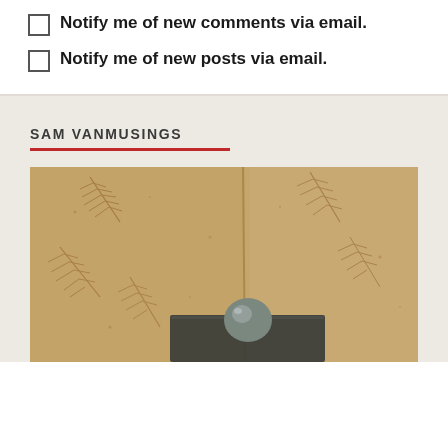Notify me of new comments via email.
Notify me of new posts via email.
SAM VANMUSINGS
[Figure (photo): Photo of a clay or stone tile/slab with fern leaf impressions pressed into its surface, with a dark rectangular object and a round metallic object placed on top of it.]